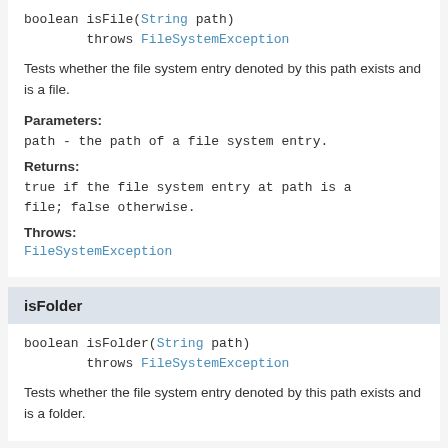boolean isFile(String path)
        throws FileSystemException
Tests whether the file system entry denoted by this path exists and is a file.
Parameters:
path - the path of a file system entry.
Returns:
true if the file system entry at path is a file; false otherwise.
Throws:
FileSystemException
isFolder
boolean isFolder(String path)
        throws FileSystemException
Tests whether the file system entry denoted by this path exists and is a folder.